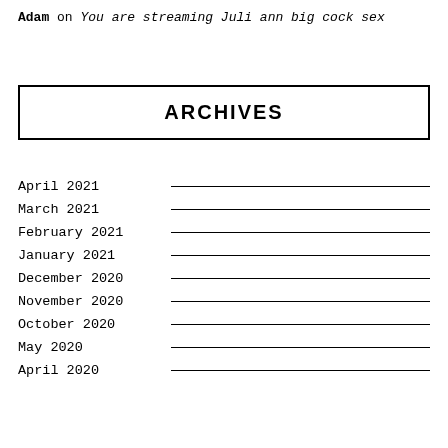Adam on You are streaming Juli ann big cock sex
ARCHIVES
April 2021
March 2021
February 2021
January 2021
December 2020
November 2020
October 2020
May 2020
April 2020